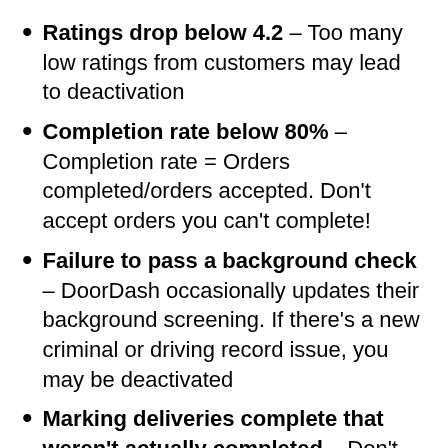Ratings drop below 4.2 – Too many low ratings from customers may lead to deactivation
Completion rate below 80% – Completion rate = Orders completed/orders accepted. Don't accept orders you can't complete!
Failure to pass a background check – DoorDash occasionally updates their background screening. If there's a new criminal or driving record issue, you may be deactivated
Marking deliveries complete that weren't actually completed – Don't mark it complete if it isn't. If you can't complete a delivery, follow the in-app steps to correctly end the delivery